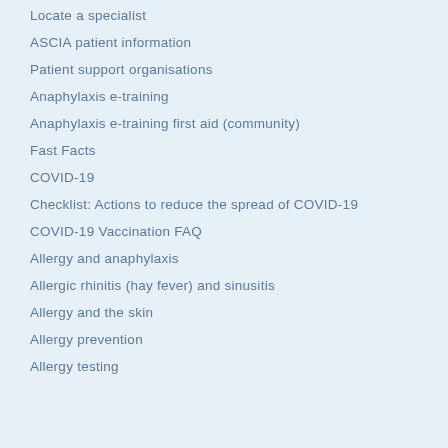Locate a specialist
ASCIA patient information
Patient support organisations
Anaphylaxis e-training
Anaphylaxis e-training first aid (community)
Fast Facts
COVID-19
Checklist: Actions to reduce the spread of COVID-19
COVID-19 Vaccination FAQ
Allergy and anaphylaxis
Allergic rhinitis (hay fever) and sinusitis
Allergy and the skin
Allergy prevention
Allergy testing